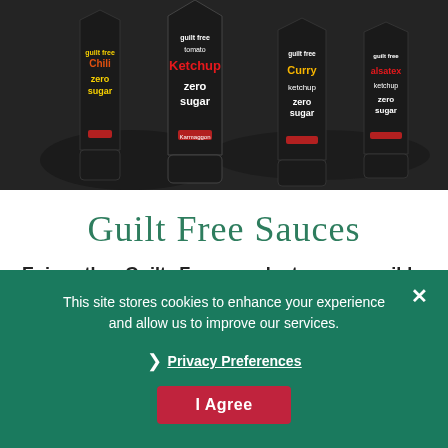[Figure (photo): Product photo of four dark-coloured sauce bottles labeled 'guilt free' with variants: Chili, Ketchup (tomato), Curry, and Alsatex, all featuring 'zero sugar' on the labels, against a dark background.]
Guilt Free Sauces
Enjoy the Guilt Free products responsibly. These sauces are free from allergens to be listed, MSG and flavours. Furthermore, the sauces are free of added colours and sweeteners. Still, the sauces have a great taste. In this way, a responsible choice will also.
This site stores cookies to enhance your experience and allow us to improve our services.
› Privacy Preferences
I Agree